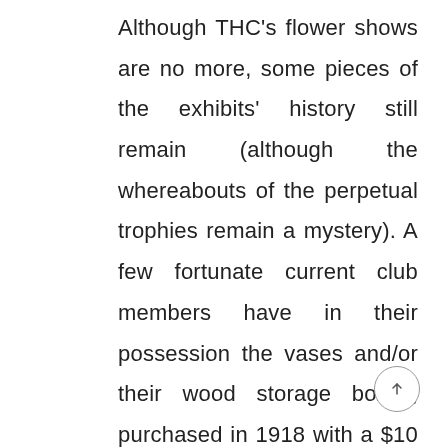Although THC's flower shows are no more, some pieces of the exhibits' history still remain (although the whereabouts of the perpetual trophies remain a mystery). A few fortunate current club members have in their possession the vases and/or their wood storage boxes, purchased in 1918 with a $10 award from the now out-of-business Woodward and Lothrop at $3.00 for 100 vases. These were used throughout the last of the shows. The